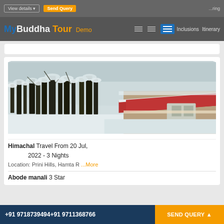View details | Send Query | ...ring
MyBuddha Tour Demo | Inclusions | Itinerary
[Figure (photo): Snow-covered pine trees and hills with a chalet-style building featuring a red tiled roof dusted with snow in a Himalayan winter landscape]
Himachal Travel From 20 Jul, 2022 - 3 Nights
Location: Prini Hills, Hamta R ...More
Abode manali 3 Star
+91 9718739494 +91 9711368766 | SEND QUERY